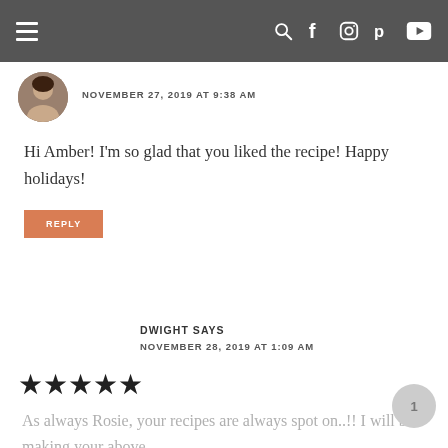≡ [navigation bar with search, facebook, instagram, pinterest, youtube icons]
NOVEMBER 27, 2019 AT 9:38 AM
Hi Amber! I'm so glad that you liked the recipe! Happy holidays!
REPLY
DWIGHT SAYS
NOVEMBER 28, 2019 AT 1:09 AM
[Figure (other): Five filled star rating icons]
As always Rosie, your recipes are always spot on..!! I will be making your above